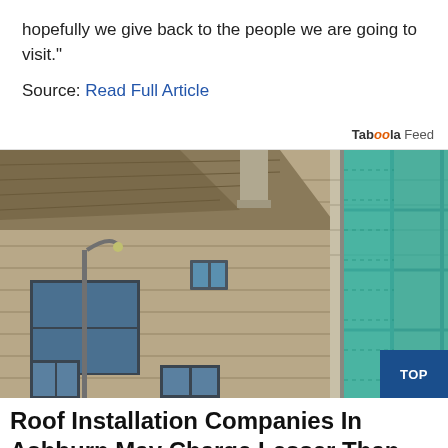hopefully we give back to the people we are going to visit.”
Source: Read Full Article
Taboola Feed
[Figure (photo): A weathered wooden house with a deteriorating roof under renovation, with scaffolding and teal/green safety netting on the right side, against a blue sky.]
Roof Installation Companies In Ashburn May Charge Lesser Than You Think